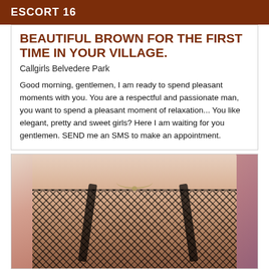ESCORT 16
BEAUTIFUL BROWN FOR THE FIRST TIME IN YOUR VILLAGE.
Callgirls Belvedere Park
Good morning, gentlemen, I am ready to spend pleasant moments with you. You are a respectful and passionate man, you want to spend a pleasant moment of relaxation... You like elegant, pretty and sweet girls? Here I am waiting for you gentlemen. SEND me an SMS to make an appointment.
[Figure (photo): Photo of a person wearing black lace lingerie with a necklace, cropped view of torso]